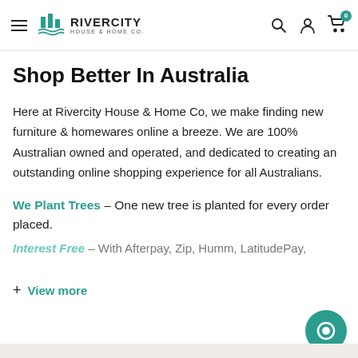RIVERCITY HOUSE & HOME CO. — navigation bar with hamburger menu, logo, search icon, account icon, cart icon (badge: 0)
Shop Better In Australia
Here at Rivercity House & Home Co, we make finding new furniture & homewares online a breeze. We are 100% Australian owned and operated, and dedicated to creating an outstanding online shopping experience for all Australians.
We Plant Trees – One new tree is planted for every order placed.
Interest Free – With Afterpay, Zip, Humm, LatitudePay,
+ View more
[Figure (other): Teal circular chat/support button in bottom-right corner]